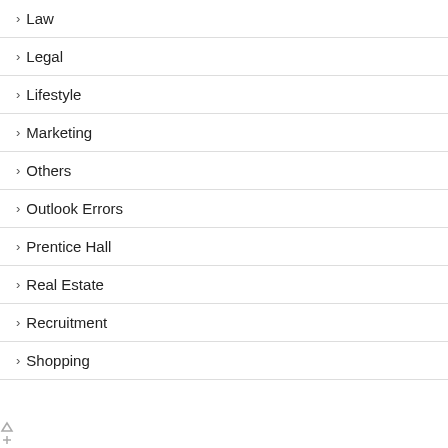Law
Legal
Lifestyle
Marketing
Others
Outlook Errors
Prentice Hall
Real Estate
Recruitment
Shopping
[Figure (screenshot): Close button bar (red, white text: X CLOSE) and advertisement banner for Firestone Tires with logo and discount offer text]